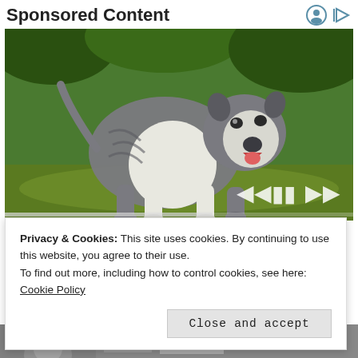Sponsored Content
[Figure (photo): A muscular pit bull dog standing on grass with green foliage in background. Video player controls visible at bottom.]
Privacy & Cookies: This site uses cookies. By continuing to use this website, you agree to their use.
To find out more, including how to control cookies, see here: Cookie Policy
Close and accept